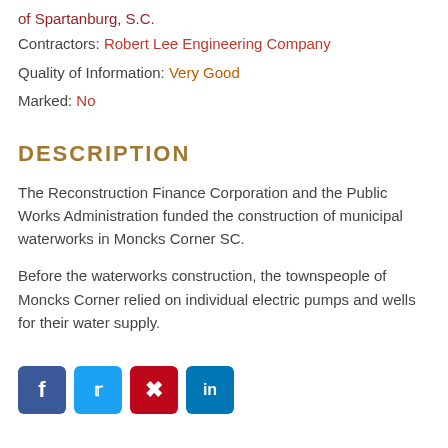of Spartanburg, S.C.
Contractors: Robert Lee Engineering Company
Quality of Information: Very Good
Marked: No
DESCRIPTION
The Reconstruction Finance Corporation and the Public Works Administration funded the construction of municipal waterworks in Moncks Corner SC.
Before the waterworks construction, the townspeople of Moncks Corner relied on individual electric pumps and wells for their water supply.
[Figure (other): Social media share buttons: Facebook, Twitter, Pinterest, LinkedIn]